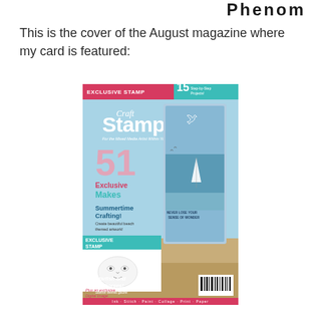Phenom
This is the cover of the August magazine where my card is featured:
[Figure (photo): Cover of Craft Stamper magazine August issue. Features 'EXCLUSIVE STAMP' banner in pink/red at top left, '15 Step-by-Step Projects!' in teal at top right. Large title 'Craft Stamper' with subtitle 'For the Mixed Media Artist Within You!'. Shows '51 Exclusive Makes', 'Summertime Crafting! Create beautiful beach themed artwork!', an exclusive stamp showing a face illustration, 'Plus an exclusive Digital Image', 'Starfish and Seahorses! Starfish themes galore!', and a bottom bar 'Ink · Stitch · Paint · Collage · Print · Paper'. Main image shows a beach scene with a card artwork featuring a sailboat and text 'NEVER LOSE YOUR SENSE OF WONDER'.]